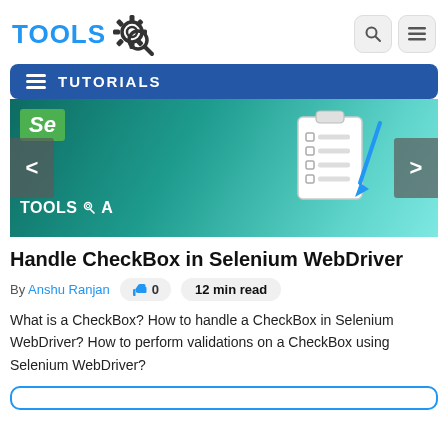TOOLS [gear logo]
[Figure (screenshot): ToolsQA website header with logo showing TOOLS text in blue with gear icon, search and menu buttons on the right, blue TUTORIALS navigation bar, and a teal/green article banner image with Se logo, TOOLSQA text, clipboard graphic, and left/right navigation arrows]
Handle CheckBox in Selenium WebDriver
By Anshu Ranjan   👍 0   12 min read
What is a CheckBox? How to handle a CheckBox in Selenium WebDriver? How to perform validations on a CheckBox using Selenium WebDriver?